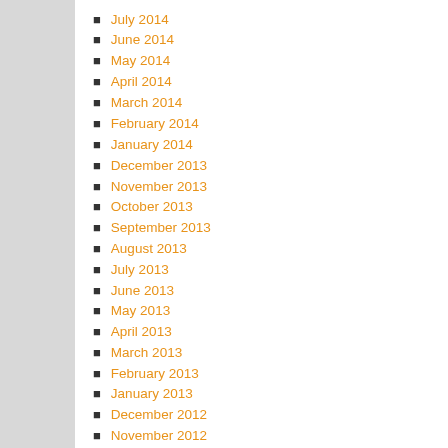July 2014
June 2014
May 2014
April 2014
March 2014
February 2014
January 2014
December 2013
November 2013
October 2013
September 2013
August 2013
July 2013
June 2013
May 2013
April 2013
March 2013
February 2013
January 2013
December 2012
November 2012